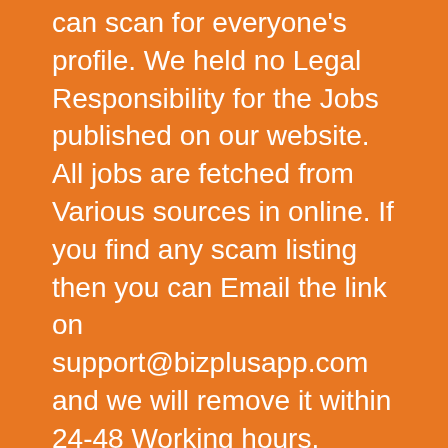can scan for everyone's profile. We held no Legal Responsibility for the Jobs published on our website. All jobs are fetched from Various sources in online. If you find any scam listing then you can Email the link on support@bizplusapp.com and we will remove it within 24-48 Working hours.
For Employers
Hello Employer, Thank you for visiting our website. If you have any issues with the listing published on our website then I am really sorry for the inconvenience caused to you. You can just drop an Mail on support@bizplusapp.com and i will remove your link within 1 Day and deindex that from Search Engines.